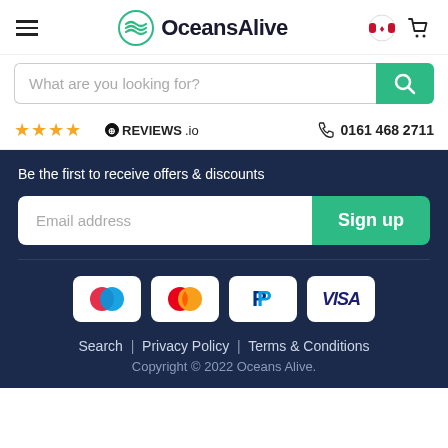[Figure (logo): OceansAlive logo with teal wave icon and bold text]
[Figure (screenshot): Search bar with placeholder text 'What are you looking for?' and green search button]
★★★★☆ REVIEWS.io   0161 468 2711
Be the first to receive offers & discounts
Email address   Sign up
[Figure (infographic): Payment method icons: Maestro, Mastercard, PayPal, Visa]
Search | Privacy Policy | Terms & Conditions
Copyright © 2022 Oceans Alive.